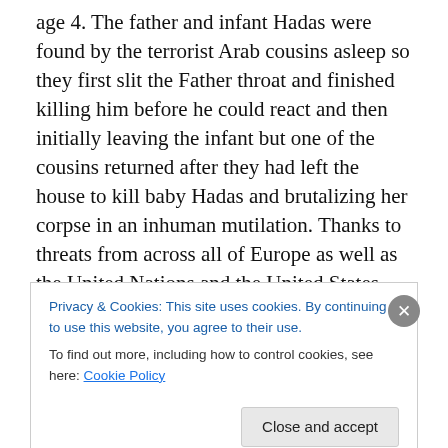age 4. The father and infant Hadas were found by the terrorist Arab cousins asleep so they first slit the Father throat and finished killing him before he could react and then initially leaving the infant but one of the cousins returned after they had left the house to kill baby Hadas and brutalizing her corpse in an inhuman mutilation. Thanks to threats from across all of Europe as well as the United Nations and the United States, Israel is the only place on the planet where policies have been enacted and enforced sometimes up front and outwardly so the population of Israel understands these restrictions on the
Privacy & Cookies: This site uses cookies. By continuing to use this website, you agree to their use.
To find out more, including how to control cookies, see here: Cookie Policy
Close and accept